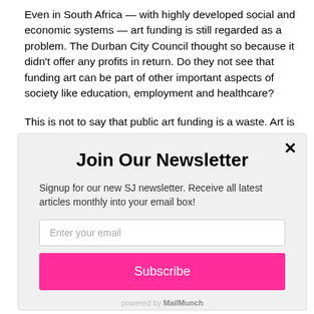Even in South Africa — with highly developed social and economic systems —  art funding is still regarded as a problem. The Durban City Council thought so because it didn't offer any profits in return. Do they not see that funding art can be part of other important aspects of society like education, employment and healthcare?

This is not to say that public art funding is a waste. Art is important
[Figure (screenshot): Newsletter signup modal overlay with title 'Join Our Newsletter', description text, email input field, and a pink Subscribe button. Powered by MailMunch branding at bottom.]